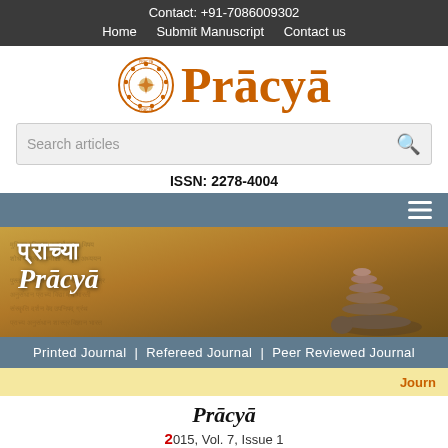Contact: +91-7086009302
Home  Submit Manuscript  Contact us
[Figure (logo): Pracya journal logo with circular emblem and orange serif text]
Search articles
ISSN: 2278-4004
[Figure (illustration): Navigation hamburger menu icon on blue-gray background]
[Figure (photo): Journal banner showing Devanagari and Latin text 'Pracya' over aged manuscript background with stacked stones]
Printed Journal  |  Refereed Journal  |  Peer Reviewed Journal
Journ
Prācyā
2015, Vol. 7, Issue 1